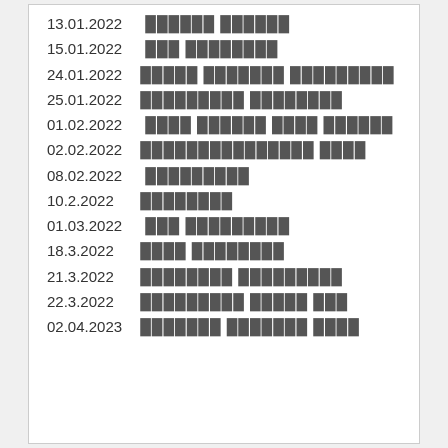13.01.2022  ██████ ██████
15.01.2022  ███ ████████
24.01.2022 █████ ███████ █████████
25.01.2022 █████████ ████████
01.02.2022  ████ ██████ ████ ██████
02.02.2022 ███████████████ ████
08.02.2022  █████████
10.2.2022 ████████
01.03.2022  ███ █████████
18.3.2022 ████ ████████
21.3.2022 ████████ █████████
22.3.2022 █████████ █████ ███
02.04.2023 ███████ ███████ ████